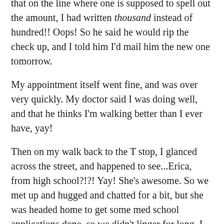that on the line where one is supposed to spell out the amount, I had written thousand instead of hundred!! Oops! So he said he would rip the check up, and I told him I'd mail him the new one tomorrow.
My appointment itself went fine, and was over very quickly. My doctor said I was doing well, and that he thinks I'm walking better than I ever have, yay!
Then on my walk back to the T stop, I glanced across the street, and happened to see...Erica, from high school?!?! Yay! She's awesome. So we met up and hugged and chatted for a bit, but she was headed home to get some med school applications done, so we didn't linger for long. I hope to make plans with her sometime in October, though, when she is done with all that!
Thankfully, the train ran all the way into Government Center on the way back, though, whew. Since then, nothing all that odd has happened, but ... the day's not over, yet! Heh.
I have to write again sometime soon about last weekend